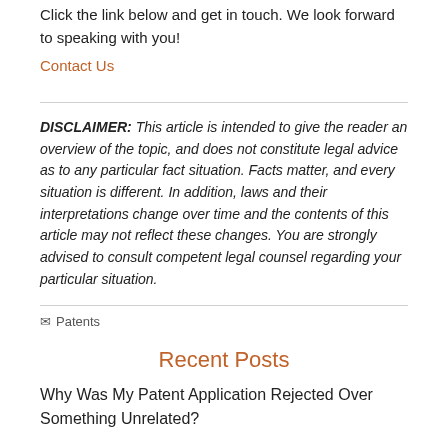Click the link below and get in touch. We look forward to speaking with you!
Contact Us
DISCLAIMER: This article is intended to give the reader an overview of the topic, and does not constitute legal advice as to any particular fact situation. Facts matter, and every situation is different. In addition, laws and their interpretations change over time and the contents of this article may not reflect these changes. You are strongly advised to consult competent legal counsel regarding your particular situation.
Patents
Recent Posts
Why Was My Patent Application Rejected Over Something Unrelated?